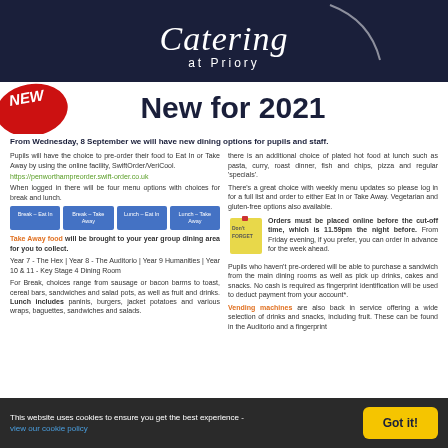[Figure (logo): Catering at Priory logo on dark navy background]
New for 2021
From Wednesday, 8 September we will have new dining options for pupils and staff.
Pupils will have the choice to pre-order their food to Eat In or Take Away by using the online facility, SwiftOrder/VeriCool.
https://penworthampreorder.swift-order.co.uk
When logged in there will be four menu options with choices for break and lunch.
[Figure (screenshot): Four blue menu option buttons: Break - Eat In, Break - Take Away, Lunch - Eat In, Lunch - Take Away]
Take Away food will be brought to your year group dining area for you to collect.
Year 7 - The Hex | Year 8 - The Auditorio | Year 9 Humanities | Year 10 & 11 - Key Stage 4 Dining Room
For Break, choices range from sausage or bacon barms to toast, cereal bars, sandwiches and salad pots, as well as fruit and drinks. Lunch includes paninis, burgers, jacket potatoes and various wraps, baguettes, sandwiches and salads.
there is an additional choice of plated hot food at lunch such as pasta, curry, roast dinner, fish and chips, pizza and regular 'specials'.
There's a great choice with weekly menu updates so please log in for a full list and order to either Eat In or Take Away. Vegetarian and gluten-free options also available.
[Figure (illustration): Yellow sticky note with 'Don't Forget' written on it]
Orders must be placed online before the cut-off time, which is 11.59pm the night before. From Friday evening, if you prefer, you can order in advance for the week ahead.
Pupils who haven't pre-ordered will be able to purchase a sandwich from the main dining rooms as well as pick up drinks, cakes and snacks. No cash is required as fingerprint identification will be used to deduct payment from your account*.
Vending machines are also back in service offering a wide selection of drinks and snacks, including fruit. These can be found in the Auditorio and a fingerprint
This website uses cookies to ensure you get the best experience - view our cookie policy   Got it!